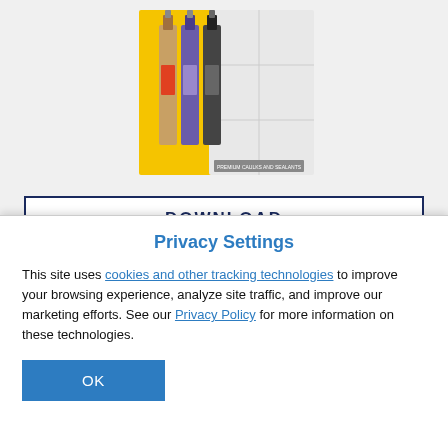[Figure (photo): Product image of premium caulks and sealants tubes/cartridges arranged on a yellow and white background]
DOWNLOAD
RETAILER LOCATOR
Privacy Settings
This site uses cookies and other tracking technologies to improve your browsing experience, analyze site traffic, and improve our marketing efforts. See our Privacy Policy for more information on these technologies.
OK